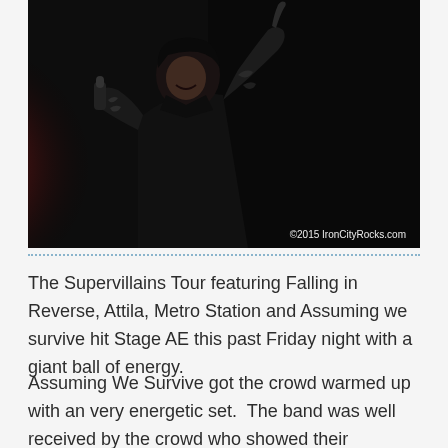[Figure (photo): Concert photo of a heavily tattooed male singer holding a microphone and pointing upward with one finger, performing on a dark stage with red/pink smoke or lighting on the left side. Photo credit: ©2015 IronCityRocks.com]
©2015 IronCityRocks.com
The Supervillains Tour featuring Falling in Reverse, Attila, Metro Station and Assuming we survive hit Stage AE this past Friday night with a giant ball of energy.
Assuming We Survive got the crowd warmed up with an very energetic set.  The band was well received by the crowd who showed their appreciation with a massive wave of crowd surfers toward the end of their set.  IT